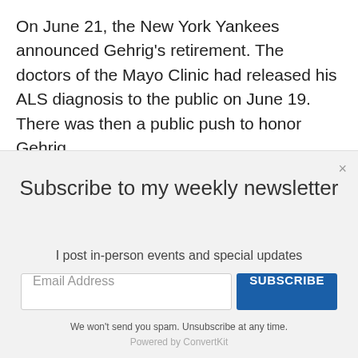On June 21, the New York Yankees announced Gehrig's retirement. The doctors of the Mayo Clinic had released his ALS diagnosis to the public on June 19. There was then a public push to honor Gehrig.
Subscribe to my weekly newsletter
I post in-person events and special updates
We won't send you spam. Unsubscribe at any time.
Powered by ConvertKit